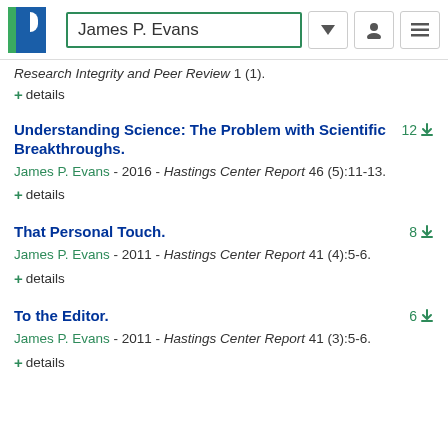James P. Evans
Research Integrity and Peer Review 1 (1).
+ details
Understanding Science: The Problem with Scientific Breakthroughs.
James P. Evans - 2016 - Hastings Center Report 46 (5):11-13.
+ details
That Personal Touch.
James P. Evans - 2011 - Hastings Center Report 41 (4):5-6.
+ details
To the Editor.
James P. Evans - 2011 - Hastings Center Report 41 (3):5-6.
+ details